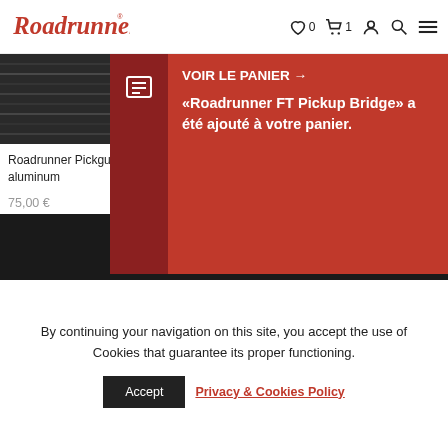Roadrunner — navigation bar with logo, wishlist (0), cart (1), account, search, menu icons
[Figure (screenshot): Dark textured product image (partially visible) for Roadrunner Pickguard product on left side]
Roadrunner Pickguard p… aluminum
75,00 €
AJOUTER AU PANIER
[Figure (infographic): Red popup notification: VOIR LE PANIER → «Roadrunner FT Pickup Bridge» a été ajouté à votre panier. With dark red icon area on left.]
325,00 €
AJOUTER AU PANIER
[Figure (photo): Black footer band section]
By continuing your navigation on this site, you accept the use of Cookies that guarantee its proper functioning.
Accept
Privacy & Cookies Policy